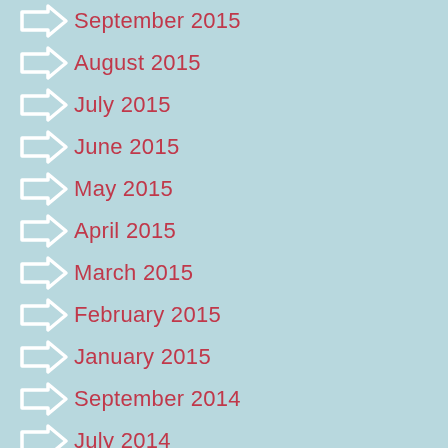September 2015
August 2015
July 2015
June 2015
May 2015
April 2015
March 2015
February 2015
January 2015
September 2014
July 2014
Categories
Airline Reviews